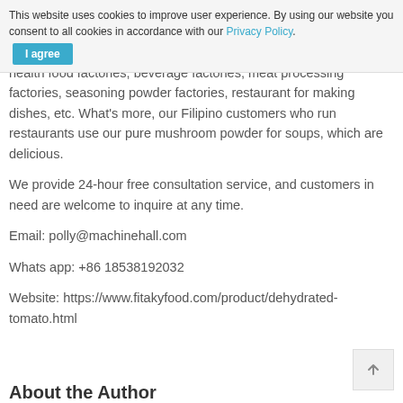This website uses cookies to improve user experience. By using our website you consent to all cookies in accordance with our Privacy Policy. I agree
health food factories, beverage factories, meat processing factories, seasoning powder factories, restaurant for making dishes, etc. What's more, our Filipino customers who run restaurants use our pure mushroom powder for soups, which are delicious.
We provide 24-hour free consultation service, and customers in need are welcome to inquire at any time.
Email: polly@machinehall.com
Whats app: +86 18538192032
Website: https://www.fitakyfood.com/product/dehydrated-tomato.html
About the Author